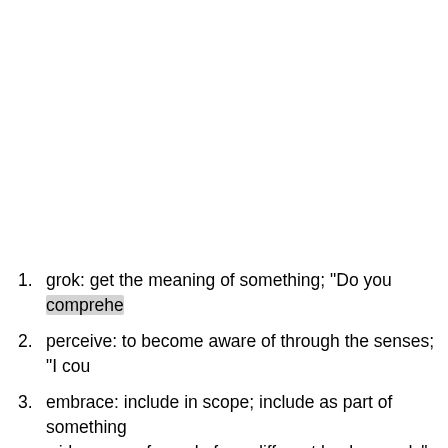grok: get the meaning of something; "Do you comprehe…
perceive: to become aware of through the senses; "I cou…
embrace: include in scope; include as part of something… wide range of people from different backgrounds"; "thi…
(comprehended) appreciated: fully understood or grasp… comprehended is a thing known as fully as it can be kno…
(comprehension) an ability to understand the meaning…